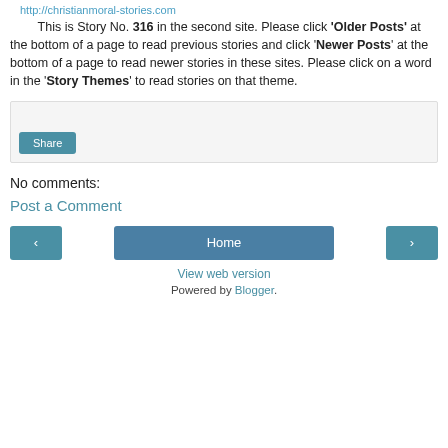http://christianmoral-stories.com
This is Story No. 316 in the second site. Please click ‘Older Posts’ at the bottom of a page to read previous stories and click ‘Newer Posts’ at the bottom of a page to read newer stories in these sites. Please click on a word in the ‘Story Themes’ to read stories on that theme.
[Figure (other): Share button widget area with light grey background]
No comments:
Post a Comment
[Figure (infographic): Navigation row with left arrow button, Home button, and right arrow button]
View web version
Powered by Blogger.